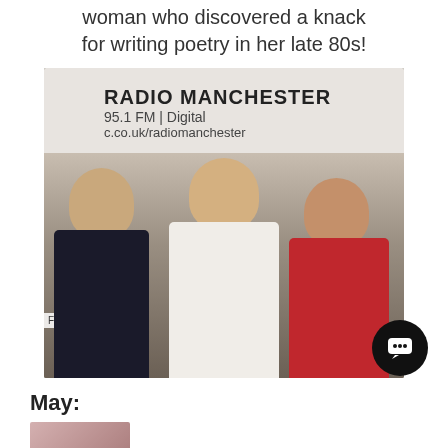woman who discovered a knack for writing poetry in her late 80s!
[Figure (photo): Three people posing together in front of a Radio Manchester banner showing 95.1FM | Digital and bbc.co.uk/radiomanchester. A man in dark jacket on the left, a man in white top in the center, and a woman in red top on the right. A 'Fire Alarm' sign is visible on the left wall.]
May:
[Figure (photo): Small thumbnail image of a person]
Trailer